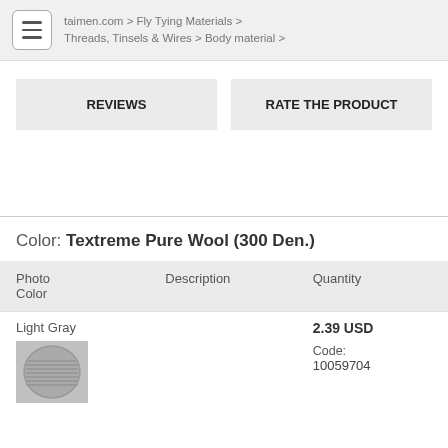taimen.com > Fly Tying Materials > Threads, Tinsels & Wires > Body material >
REVIEWS
RATE THE PRODUCT
Color: Textreme Pure Wool (300 Den.)
| Photo
Color | Description | Quantity |
| --- | --- | --- |
| Light Gray
[product image] |  | 2.39 USD
Code:
10059704 |